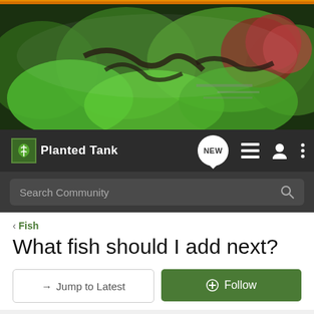[Figure (photo): Banner photo of a lush planted aquarium with green aquatic plants, red plants, driftwood, and aquascape decorations. Orange strip at top.]
Planted Tank — navigation bar with NEW, list, user, and menu icons, and Search Community search bar
< Fish
What fish should I add next?
→ Jump to Latest   + Follow
1 - 4 of 4 Posts
maxhrbal · Registered
Joined Mar 19, 2016 · 165 Posts